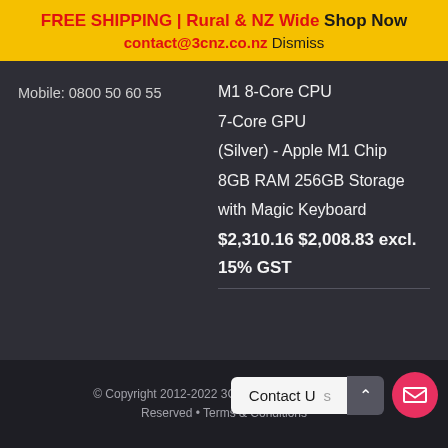FREE SHIPPING | Rural & NZ Wide Shop Now
contact@3cnz.co.nz Dismiss
Mobile: 0800 50 60 55
M1 8-Core CPU
7-Core GPU
(Silver) - Apple M1 Chip
8GB RAM 256GB Storage
with Magic Keyboard
$2,310.16 $2,008.83 excl. 15% GST
© Copyright 2012-2022 3C Computers. All Rights Reserved • Terms & Conditions